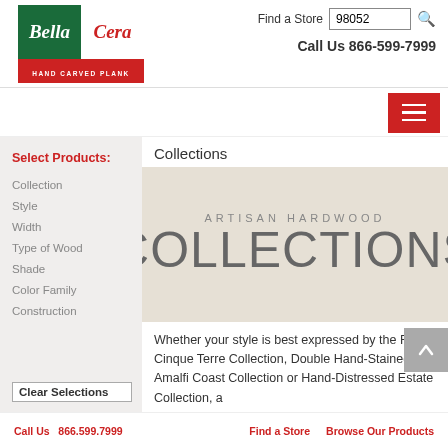[Figure (logo): Bella Cera Hand Carved Plank logo — red background, green left panel with 'Bella' in white italic, white right panel with 'Cera' in red italic, 'HAND CARVED PLANK' text below]
Find a Store  98052
Call Us 866-599-7999
[Figure (other): Red hamburger menu button with three white horizontal lines]
Collections
Select Products:
Collection
Style
Width
Type of Wood
Shade
Color Family
Construction
Clear Selections
[Figure (illustration): Artisan Hardwood Collections banner on beige/tan background with large text 'ARTISAN HARDWOOD' above and 'COLLECTIONS' in very large grey letters]
Whether your style is best expressed by the Rustic Cinque Terre Collection, Double Hand-Stained Amalfi Coast Collection or Hand-Distressed Estate Collection, a
Call Us  866.599.7999    Find a Store    Browse Our Products